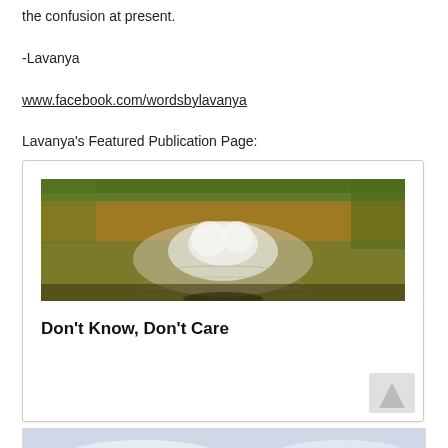the confusion at present.
-Lavanya
www.facebook.com/wordsbylavanya
Lavanya's Featured Publication Page:
[Figure (photo): Water reflection photo showing autumn-colored trees and white cloud/mountain reflections in a rippled pond or lake surface. Card containing the photo also includes bold title text 'Don't Know, Don't Care'.]
[Figure (photo): Sky and clouds photo partially visible at bottom of page.]